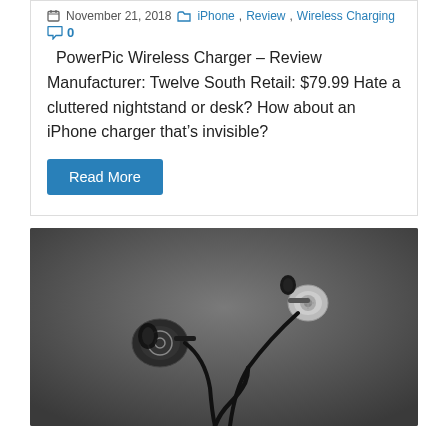November 21, 2018  iPhone, Review, Wireless Charging  0
PowerPic Wireless Charger – Review Manufacturer: Twelve South Retail: $79.99 Hate a cluttered nightstand or desk? How about an iPhone charger thatâ€™s invisible?
Read More
[Figure (photo): Product photo of in-ear earphones/headphones against a dark gray background, showing two earbuds with cables]